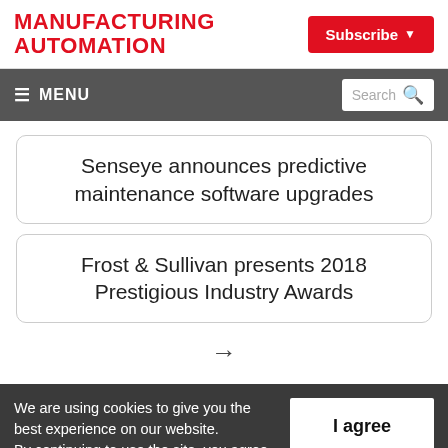MANUFACTURING AUTOMATION
Subscribe
≡ MENU  Search
Senseye announces predictive maintenance software upgrades
Frost & Sullivan presents 2018 Prestigious Industry Awards
→
We are using cookies to give you the best experience on our website.
By continuing to use the site, you agree to the use of cookies.
To find out more, read our privacy policy.
I agree